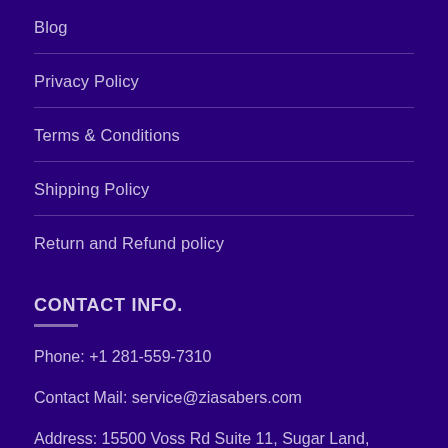Blog
Privacy Policy
Terms & Conditions
Shipping Policy
Return and Refund policy
CONTACT INFO.
Phone: +1 281-559-7310
Contact Mail: service@ziasabers.com
Address: 15500 Voss Rd Suite 11, Sugar Land, Texas, 77498, USA.